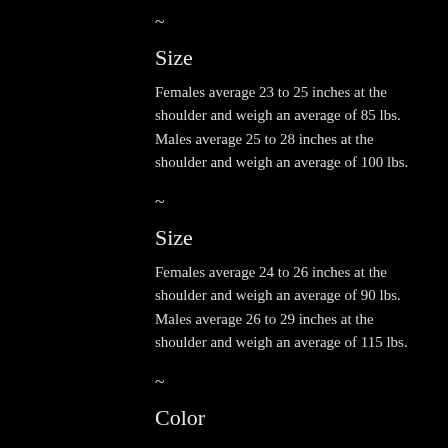~
Size
Females average 23 to 25 inches at the shoulder and weigh an average of 85 lbs.  Males average 25 to 28 inches at the shoulder and weigh an average of 100 lbs.
~
Size
Females average 24 to 26 inches at the shoulder and weigh an average of 90 lbs.  Males average 26 to 29 inches at the shoulder and weigh an average of 115 lbs.
~
Color